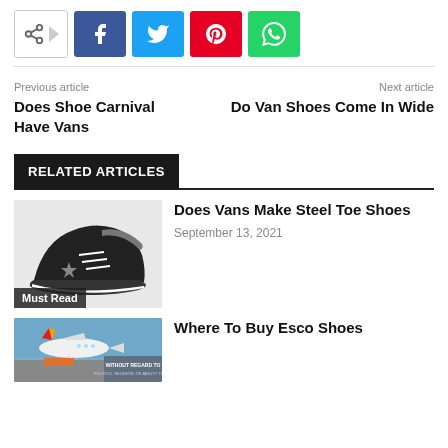[Figure (other): Social share buttons: share icon, Facebook (blue), Twitter (cyan), Pinterest (red), WhatsApp (green)]
Previous article
Does Shoe Carnival Have Vans
Next article
Do Van Shoes Come In Wide
RELATED ARTICLES
[Figure (photo): Black high-top sneaker (steel toe shoe) with star logo and white laces. Badge: Must Read]
Does Vans Make Steel Toe Shoes
September 13, 2021
[Figure (photo): Airplane on runway with cargo. Badge: WITHOUT REGARD TO (text)]
Where To Buy Esco Shoes